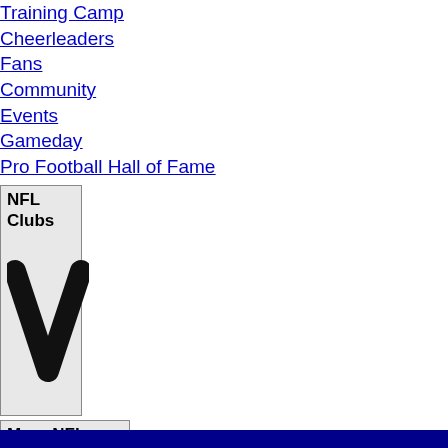Training Camp
Cheerleaders
Fans
Community
Events
Gameday
Pro Football Hall of Fame
[Figure (screenshot): NFL Clubs dropdown button with chevron/checkmark icon]
[Figure (screenshot): More NFL Sites dropdown button with chevron/checkmark icon]
Download apps
Download Apps